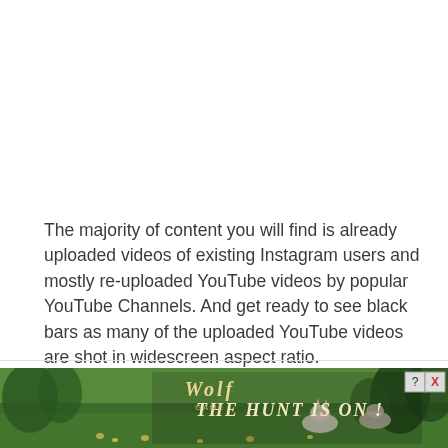The majority of content you will find is already uploaded videos of existing Instagram users and mostly re-uploaded YouTube videos by popular YouTube Channels. And get ready to see black bars as many of the uploaded YouTube videos are shot in widescreen aspect ratio.
SO IS IGTV WORTH YOUR TIME?
[Figure (photo): Advertisement banner showing Wolf Game with wolves in a meadow and text 'THE HUNT IS ON!']